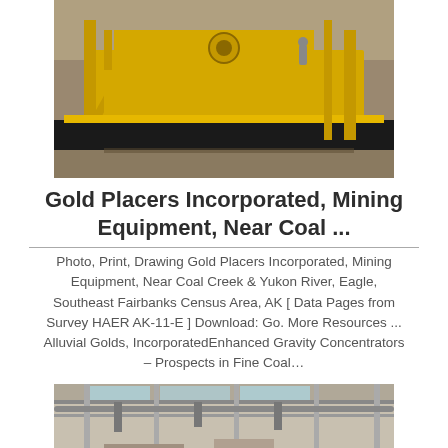[Figure (photo): Yellow mining equipment with metal scaffolding and a worker standing on it, set against a hillside background. Gold Placers Incorporated mining equipment near Coal Creek.]
Gold Placers Incorporated, Mining Equipment, Near Coal ...
Photo, Print, Drawing Gold Placers Incorporated, Mining Equipment, Near Coal Creek & Yukon River, Eagle, Southeast Fairbanks Census Area, AK [ Data Pages from Survey HAER AK-11-E ] Download: Go. More Resources ... Alluvial Golds, IncorporatedEnhanced Gravity Concentrators – Prospects in Fine Coal...
[Figure (photo): Interior view of an industrial facility, showing metal structures, pipes, and equipment in a large building with natural light coming through windows.]